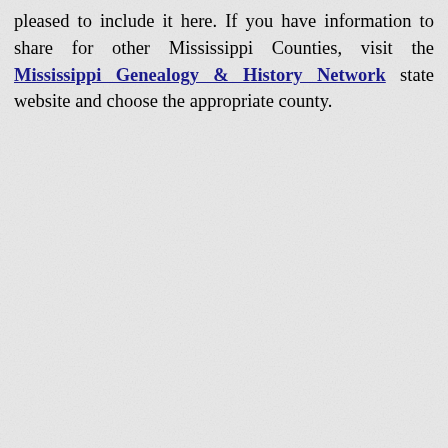pleased to include it here. If you have information to share for other Mississippi Counties, visit the Mississippi Genealogy & History Network state website and choose the appropriate county.